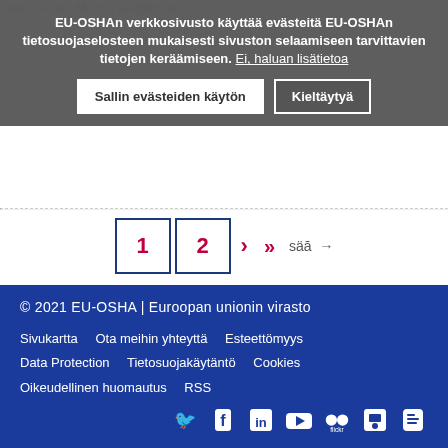EU-OSHAn verkkosivusto käyttää evästeitä EU-OSHAn tietosuojaselosteen mukaisesti sivuston selaamiseen tarvittavien tietojen keräämiseen. Ei, haluan lisätietoa
Sallin evästeiden käytön | Kieltäytyä
1  2  >  >>
© 2021 EU-OSHA | Euroopan unionin virasto
Sivukartta  Ota meihin yhteyttä  Esteettömyys
Data Protection  Tietosuojakäytäntö  Cookies
Oikeudellinen huomautus  RSS